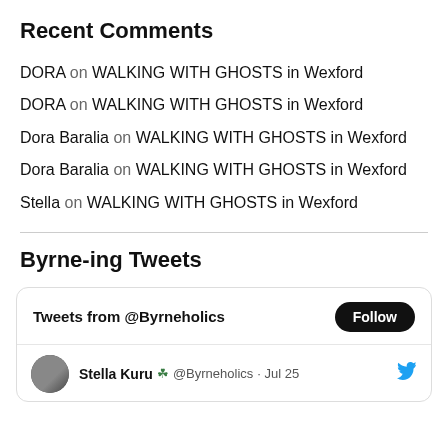Recent Comments
DORA on WALKING WITH GHOSTS in Wexford
DORA on WALKING WITH GHOSTS in Wexford
Dora Baralia on WALKING WITH GHOSTS in Wexford
Dora Baralia on WALKING WITH GHOSTS in Wexford
Stella on WALKING WITH GHOSTS in Wexford
Byrne-ing Tweets
[Figure (screenshot): Twitter/X widget showing 'Tweets from @Byrneholics' with a Follow button, and a tweet row showing Stella Kuru with shamrock icon, @Byrneholics handle, Jul 25 date, and Twitter bird icon.]